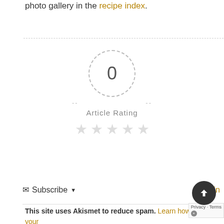photo gallery in the recipe index.
[Figure (other): Article rating widget showing 0 rating in a dashed circle, dashed lines on sides, 'Article Rating' label, and 5 empty gray stars below]
Subscribe ▾   Login
This site uses Akismet to reduce spam. Learn how your comment data is processed.